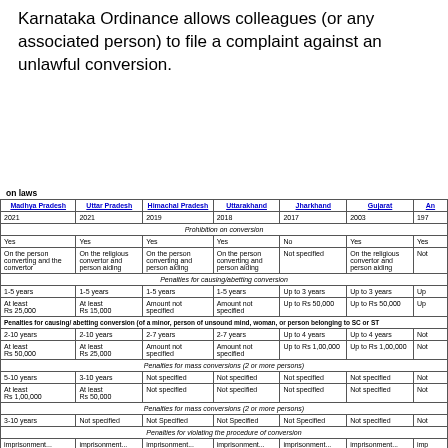Karnataka Ordinance allows colleagues (or any associated person) to file a complaint against an unlawful conversion.
on laws
| Madhya Pradesh | Uttar Pradesh | Himachal Pradesh | Uttarakhand | Jharkhand | Gujarat | An... |
| --- | --- | --- | --- | --- | --- | --- |
| 2021 | 2021 | 2019 | 2018 | 2017 | 2003 | 197... |
| Prohibition on conversion (merged row) |
| Yes | Yes | Yes | Yes | No | Yes | Yes... |
| On the person converting and the convertor | On the religious convertor and person aiding | On the person converting and person aiding | On the person converting and person aiding | Not specified | On the religious convertor and person aiding | Not... |
| Penalties for causing/abetting conversion (merged row) |
| 1-5 years | 1-5 years | 1-5 years | 1-5 years | Up to 3 years | Up to 3 years | Up... |
| At least Rs 25,000 | At least Rs 15,000 | Amount not specified | Amount not specified | Up to Rs 50,000 | Up to Rs 50,000 | Up... |
| Penalties for causing/ abetting conversion (of a minor, person of unsound mind, woman, or person belonging to SC or ST (merged row) |
| 2-10 years | 2-10 years | 2-7 years | 2-7 years | Up to 4 years | Up to 4 years | Not... |
| At least Rs 50,000 | At least Rs 25,000 | Amount not specified | Amount not specified | Up to Rs 1,00,000 | Up to Rs 1,00,000 | Not... |
| Penalties for mass conversions (2 or more persons) (merged row) |
| 5-10 years | 3-10 years | Not specified | Not specified | Not specified | Not specified | Not... |
| At least Rs 1,00,000 | At least Rs 50,000 | Not specified | Not specified | Not specified | Not specified | Not... |
| Penalties for mass conversions (2 or more persons) (merged row) |
| 3-10 years | Not specified | Not Specified | Not Specified | Not Specified | Not specified | Not... |
| Penalties for violating the procedure of conversion (merged row) |
| imprisonment... | imprisonment... | imprisonment... | imprisonment... | imprisonment... | imprisonment... | imp... |